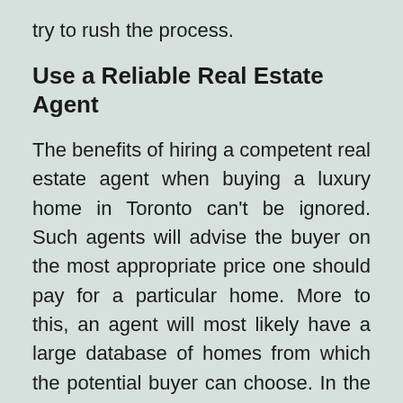try to rush the process.
Use a Reliable Real Estate Agent
The benefits of hiring a competent real estate agent when buying a luxury home in Toronto can't be ignored. Such agents will advise the buyer on the most appropriate price one should pay for a particular home. More to this, an agent will most likely have a large database of homes from which the potential buyer can choose. In the long run, using an agent may help in making the all too long process easier and less stressful.